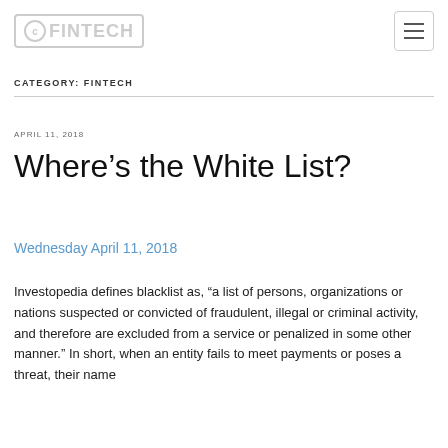(c)FINTECH
CATEGORY: FINTECH
APRIL 11, 2018
Where’s the White List?
Wednesday April 11, 2018
Investopedia defines blacklist as, “a list of persons, organizations or nations suspected or convicted of fraudulent, illegal or criminal activity, and therefore are excluded from a service or penalized in some other manner.” In short, when an entity fails to meet payments or poses a threat, their name